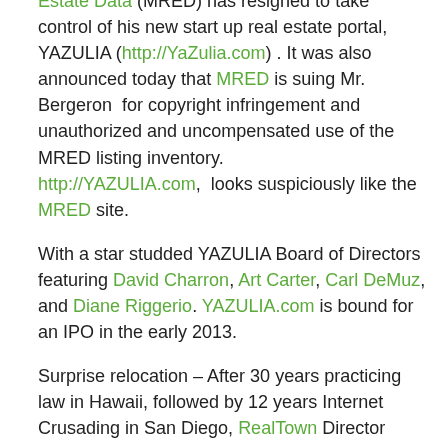Estate Data (MRED) has resigned to take control of his new start up real estate portal, YAZULIA (http://YaZulia.com) . It was also announced today that MRED is suing Mr. Bergeron for copyright infringement and unauthorized and uncompensated use of the MRED listing inventory. http://YAZULIA.com,  looks suspiciously like the MRED site.
With a star studded YAZULIA Board of Directors featuring David Charron, Art Carter, Carl DeMuz, and Diane Riggerio. YAZULIA.com is bound for an IPO in the early 2013.
Surprise relocation – After 30 years practicing law in Hawaii, followed by 12 years Internet Crusading in San Diego, RealTown Director John Reilly has decided to relocate to Saskatoon, Canada. In an exclusive interview, Reilly noted that his dermatologist insisted he seriously reduce his